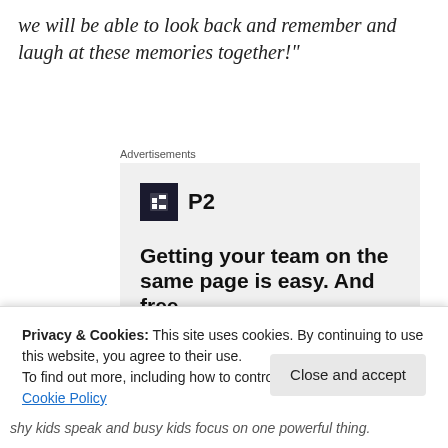we will be able to look back and remember and laugh at these memories together!"
Advertisements
[Figure (screenshot): P2 advertisement: logo with dark square icon and 'P2' text, headline 'Getting your team on the same page is easy. And free.' with avatars at the bottom.]
Privacy & Cookies: This site uses cookies. By continuing to use this website, you agree to their use.
To find out more, including how to control cookies, see here: Cookie Policy
shy kids speak and busy kids focus on one powerful thing.